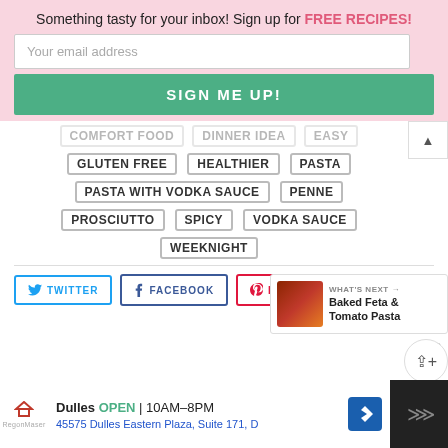Something tasty for your inbox! Sign up for FREE RECIPES!
Your email address
SIGN ME UP!
GLUTEN FREE
HEALTHIER
PASTA
PASTA WITH VODKA SAUCE
PENNE
PROSCIUTTO
SPICY
VODKA SAUCE
WEEKNIGHT
TWITTER
FACEBOOK
PINTEREST
WHAT'S NEXT → Baked Feta & Tomato Pasta
22
Dulles OPEN | 10AM–8PM 45575 Dulles Eastern Plaza, Suite 171, D